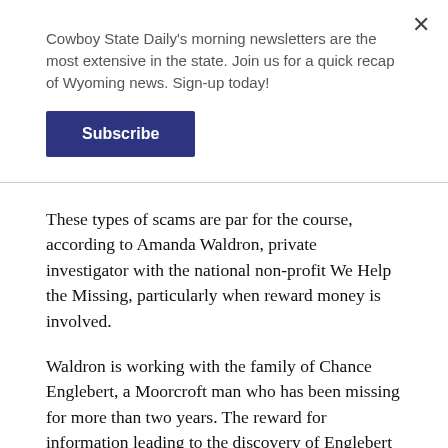Cowboy State Daily's morning newsletters are the most extensive in the state. Join us for a quick recap of Wyoming news. Sign-up today!
Subscribe
These types of scams are par for the course, according to Amanda Waldron, private investigator with the national non-profit We Help the Missing, particularly when reward money is involved.
Waldron is working with the family of Chance Englebert, a Moorcroft man who has been missing for more than two years. The reward for information leading to the discovery of Englebert is now $17,000.Waldron estimated she gets text messages from scammers about three to five times a week regarding the case.